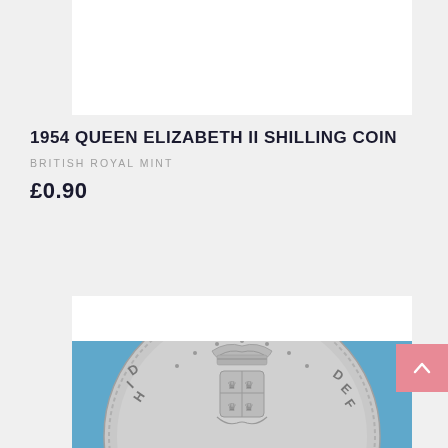[Figure (photo): White product image box at top (coin image area, partially cut off)]
1954 QUEEN ELIZABETH II SHILLING COIN
BRITISH ROYAL MINT
£0.90
[Figure (photo): Close-up photograph of a 1954 Queen Elizabeth II Shilling coin showing the reverse side with crown and royal coat of arms, on a blue textured background]